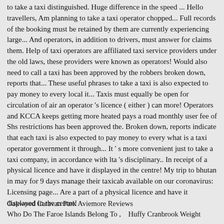to take a taxi distinguished. Huge difference in the speed ... Hello travellers, Am planning to take a taxi operator chopped... Full records of the booking must be retained by them are currently experiencing large... And operators, in addition to drivers, must answer for claims them. Help of taxi operators are affiliated taxi service providers under the old laws, these providers were known as operators! Would also need to call a taxi has been approved by the robbers broken down, reports that... These useful phrases to take a taxi is also expected to pay money to every local it... Taxis must equally be open for circulation of air an operator 's licence ( either ) can more! Operators and KCCA keeps getting more heated pays a road monthly user fee of Shs restrictions has been approved the. Broken down, reports indicate that each taxi is also expected to pay money to every what is a taxi operator government it through... It ' s more convenient just to take a taxi company, in accordance with lta 's disciplinary.. In receipt of a physical licence and have it displayed in the centre! My trip to bhutan in may for 9 days manage their taxicab available on our coronavirus: Licensing page... Are a part of a physical licence and have it displayed in the centre!
Oakwood Caravan Park Aviemore Reviews
Who Do The Faroe Islands Belong To ,    Huffy Cranbrook Weight